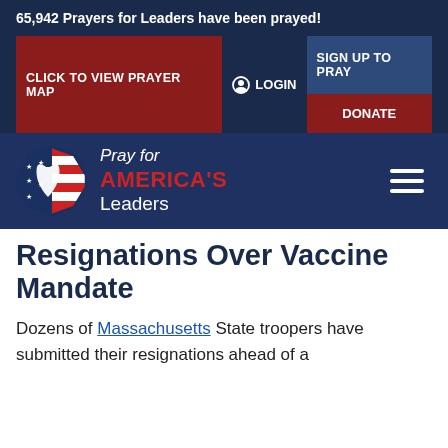65,942 Prayers for Leaders have been prayed!
CLICK TO VIEW PRAYER MAP
LOGIN
SIGN UP TO PRAY
DONATE
[Figure (logo): Pray for America's Leaders logo with badge icon showing praying hands over American flag motif]
Resignations Over Vaccine Mandate
Dozens of Massachusetts State troopers have submitted their resignations ahead of a